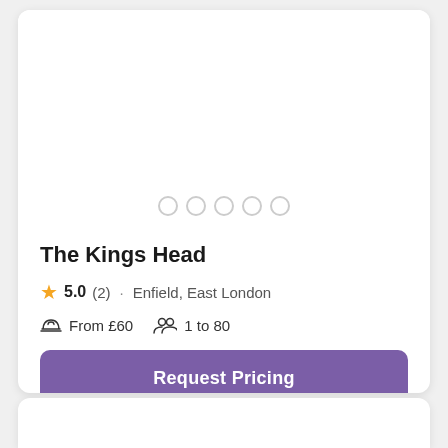[Figure (photo): Venue image area with 5 pagination dots at the bottom (first dot active)]
The Kings Head
★ 5.0 (2) · Enfield, East London
From £60   1 to 80
Request Pricing